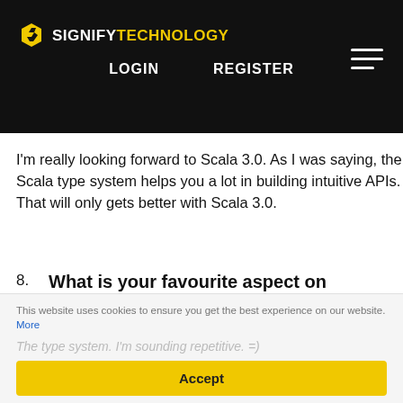SIGNIFY TECHNOLOGY | LOGIN | REGISTER
I'm really looking forward to Scala 3.0. As I was saying, the Scala type system helps you a lot in building intuitive APIs. That will only gets better with Scala 3.0.
8. What is your favourite aspect on working with Scala?
The type system. I'm sounding repetitive. =)
This website uses cookies to ensure you get the best experience on our website. More
Accept